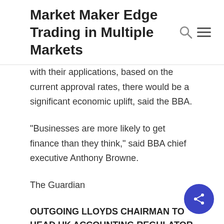Market Maker Edge Trading in Multiple Markets
with their applications, based on the current approval rates, there would be a significant economic uplift, said the BBA.
“Businesses are more likely to get finance than they think,” said BBA chief executive Anthony Browne.
The Guardian
OUTGOING LLOYDS CHAIRMAN TO HEAD UK ACCOUNTING REGULATOR
The retiring chairman of state-backed Lloyds, Sir Win Bischoff, has been named as the next head of Britain’s accounting regulator, days after being